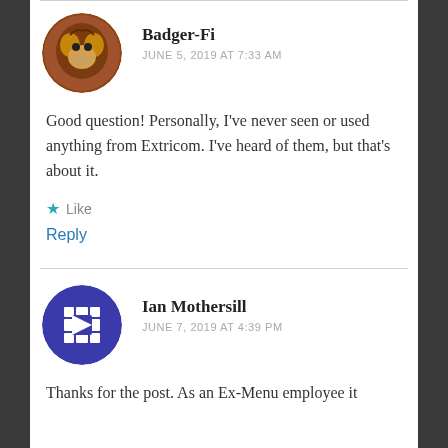Badger-Fi
JUNE 5, 2019 AT 7:33 AM
Good question! Personally, I've never seen or used anything from Extricom. I've heard of them, but that's about it.
Like
Reply
Ian Mothersill
JUNE 7, 2019 AT 4:39 PM
Thanks for the post. As an Ex-Menu employee it